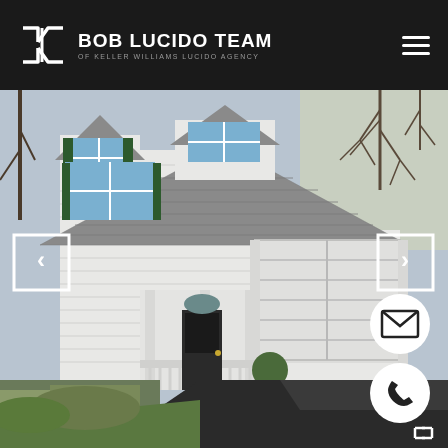BOB LUCIDO TEAM OF KELLER WILLIAMS LUCIDO AGENCY
[Figure (photo): Exterior photo of a two-story residential home with white siding, green shutters, dormer windows, covered porch, two-car garage, asphalt driveway, and landscaped green lawn with shrubs. Navigation arrows overlaid on left and right sides. Email and phone contact buttons on lower right. Expand icon at bottom right corner.]